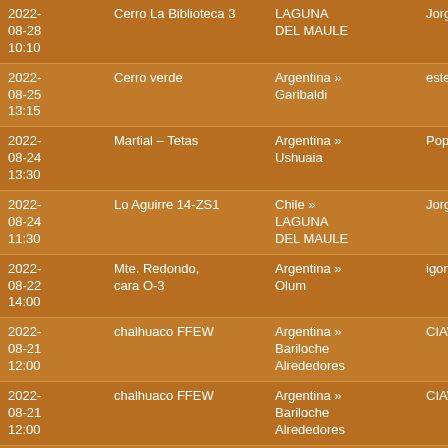| Date | Name | Area | User |
| --- | --- | --- | --- |
| 2022-08-28 10:10 | Cerro La Biblioteca 3 | LAGUNA DEL MAULE | Jorge91 |
| 2022-08-25 13:15 | Cerro verde | Argentina » Garibaldi | estebanurruty |
| 2022-08-24 13:30 | Martial – Tetas | Argentina » Ushuaia | Popof |
| 2022-08-24 11:30 | Lo Aguirre 14-ZS1 | Chile » LAGUNA DEL MAULE | Jorge91 |
| 2022-08-22 14:00 | Mte. Redondo, cara O-3 | Argentina » Olum | igomezvereda |
| 2022-08-21 12:00 | chalhuaco FFEW | Argentina » Bariloche Alrededores | CIAV |
| 2022-08-21 12:00 | chalhuaco FFEW | Argentina » Bariloche Alrededores | CIAV |
| 2022-08-19 16:00 | Mirador del Camino | Argentina » Bariloche Alrededores | baguales |
| 2022-08-18 13:00 | Baguales 20220818 | Argentina » Bariloche Alrededores | baguales |
| 2022-08-18 13:00 | pajarito SSE 20220818 | Argentina » Bariloche Alrededores | baguales |
| 2022-08-17 ... | Lo Aguirre 11-ZC-... | Chile » LAGUNA ... | Jorge91 |